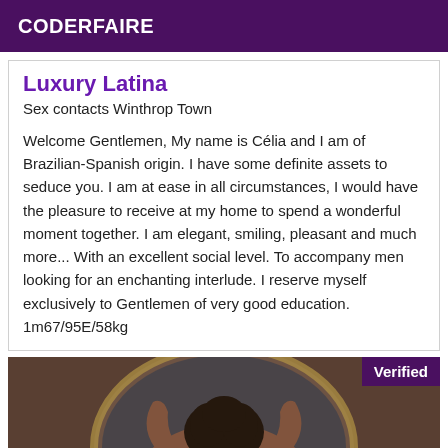CODERFAIRE
Luxury Latina
Sex contacts Winthrop Town
Welcome Gentlemen, My name is Célia and I am of Brazilian-Spanish origin. I have some definite assets to seduce you. I am at ease in all circumstances, I would have the pleasure to receive at my home to spend a wonderful moment together. I am elegant, smiling, pleasant and much more... With an excellent social level. To accompany men looking for an enchanting interlude. I reserve myself exclusively to Gentlemen of very good education.   1m67/95E/58kg
[Figure (photo): A person photographed from behind with hands raised behind head, partially obscured/blurred, with a 'Verified' badge in the top-right corner.]